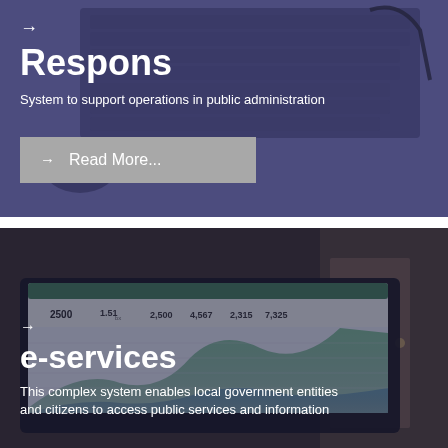[Figure (photo): Dark blue-tinted photo of a computer keyboard and mouse on a desk, used as background for the Respons card]
Respons
System to support operations in public administration
→  Read More...
[Figure (photo): Dark blue-tinted photo of a laptop showing a dashboard with statistics and charts, used as background for the e-services card]
e-services
This complex system enables local government entities and citizens to access public services and information